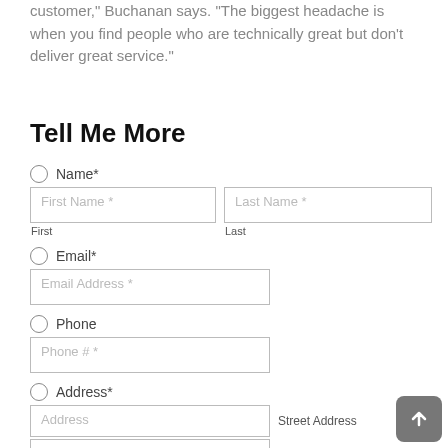customer," Buchanan says. "The biggest headache is when you find people who are technically great but don't deliver great service."
Tell Me More
Name*
First Name *   Last Name *
First   Last
Email*
Email Address *
Phone
Phone # *
Address*
Address   Street Address
City   City